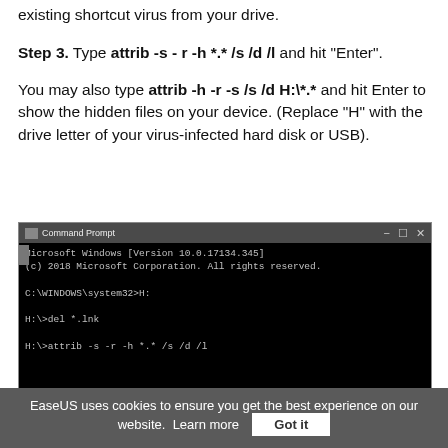existing shortcut virus from your drive.
Step 3. Type attrib -s - r -h *.* /s /d /l and hit "Enter".
You may also type attrib -h -r -s /s /d H:\*.* and hit Enter to show the hidden files on your device. (Replace "H" with the drive letter of your virus-infected hard disk or USB).
[Figure (screenshot): Command Prompt window showing: Microsoft Windows [Version 10.0.17134.345], (c) 2018 Microsoft Corporation. All rights reserved., C:\WINDOWS\system32>H:, H:\>del *.lnk, H:\>attrib -s -r -h *.* /s /d /l]
EaseUS uses cookies to ensure you get the best experience on our website. Learn more  Got it